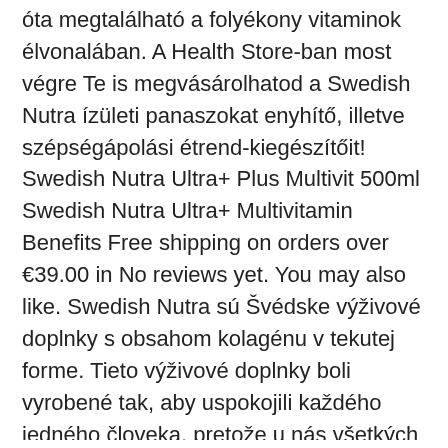óta megtalálható a folyékony vitaminok élvonalában. A Health Store-ban most végre Te is megvásárolhatod a Swedish Nutra ízületi panaszokat enyhítő, illetve szépségápolási étrend-kiegészítőit! Swedish Nutra Ultra+ Plus Multivit 500ml Swedish Nutra Ultra+ Multivitamin Benefits Free shipping on orders over €39.00 in No reviews yet. You may also like. Swedish Nutra sú Švédske výživové doplnky s obsahom kolagénu v tekutej forme. Tieto výživové doplnky boli vyrobené tak, aby uspokojili každého jedného človeka, pretože u nás všetkých sa vekom znižuje tvorba kolagénu a kyseliny hyalurónovej, čo negatívne vplýva na kĺby, pokožku, cievy, nechty, pleť a všetky spojiové tkanivá. Swedish Nutra - шведски производител, гаранция за качество и произход!